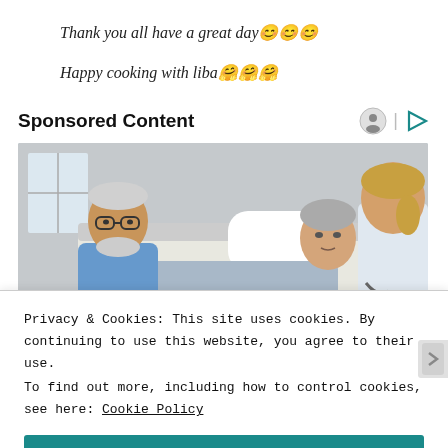Thank you all have a great day 😊😊😊
Happy cooking with liba 🤗🤗🤗
Sponsored Content
[Figure (photo): Hospital scene: elderly woman lying in bed, older man in blue shirt sitting beside her, young female doctor/nurse with blonde hair in foreground]
Privacy & Cookies: This site uses cookies. By continuing to use this website, you agree to their use.
To find out more, including how to control cookies, see here: Cookie Policy
Close and accept
Follow